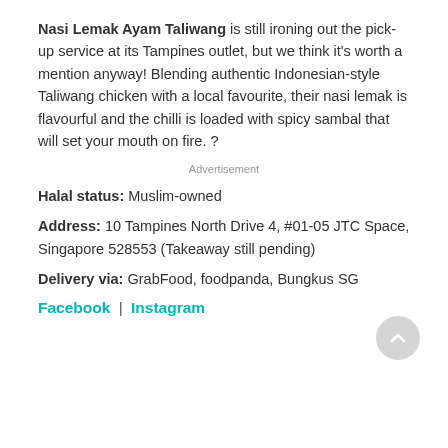Nasi Lemak Ayam Taliwang is still ironing out the pick-up service at its Tampines outlet, but we think it's worth a mention anyway! Blending authentic Indonesian-style Taliwang chicken with a local favourite, their nasi lemak is flavourful and the chilli is loaded with spicy sambal that will set your mouth on fire. ?
Advertisement
Halal status: Muslim-owned
Address: 10 Tampines North Drive 4, #01-05 JTC Space, Singapore 528553 (Takeaway still pending)
Delivery via: GrabFood, foodpanda, Bungkus SG
Facebook | Instagram